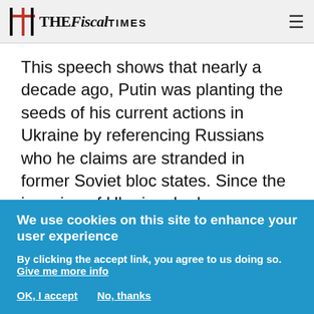THE Fiscal TIMES
This speech shows that nearly a decade ago, Putin was planting the seeds of his current actions in Ukraine by referencing Russians who he claims are stranded in former Soviet bloc states. Since the invasion of Ukraine, he has repeatedly said that he would protect the interest of Russians and Russians speaking people outside of the Soviet Union.
It also shows that there are more parallels between
We use cookies on this site to enhance your user experience
By clicking the accept link, you agree to us doing so. Give me more info
OK, I accept   No, thanks